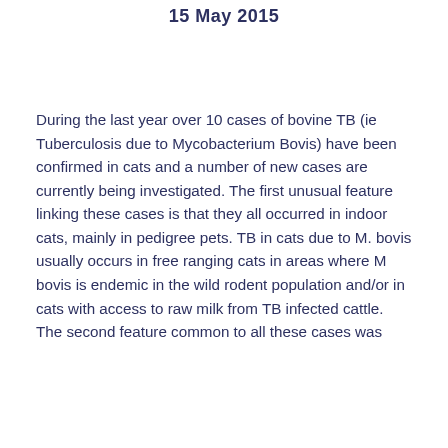15 May 2015
During the last year over 10 cases of bovine TB (ie Tuberculosis due to Mycobacterium Bovis) have been confirmed in cats and a number of new cases are currently being investigated. The first unusual feature linking these cases is that they all occurred in indoor cats, mainly in pedigree pets. TB in cats due to M. bovis usually occurs in free ranging cats in areas where M bovis is endemic in the wild rodent population and/or in cats with access to raw milk from TB infected cattle. The second feature common to all these cases was